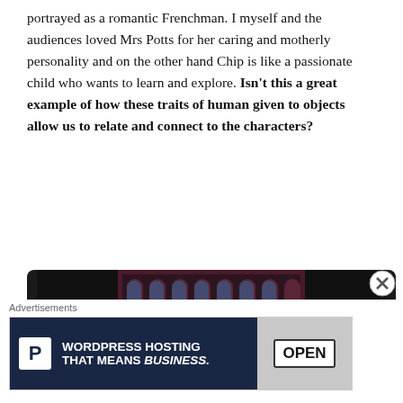portrayed as a romantic Frenchman. I myself and the audiences loved Mrs Potts for her caring and motherly personality and on the other hand Chip is like a passionate child who wants to learn and explore. Isn't this a great example of how these traits of human given to objects allow us to relate and connect to the characters?
[Figure (illustration): Animated illustration from Beauty and the Beast showing Belle in a yellow dress and the Beast in a blue suit, set inside a grand hall with arched windows. Dark background with black borders on the sides.]
Advertisements
[Figure (screenshot): Advertisement banner for WordPress Hosting with a parking-style P logo on dark navy background, text reading 'WORDPRESS HOSTING THAT MEANS BUSINESS.' and an image of an OPEN sign on the right.]